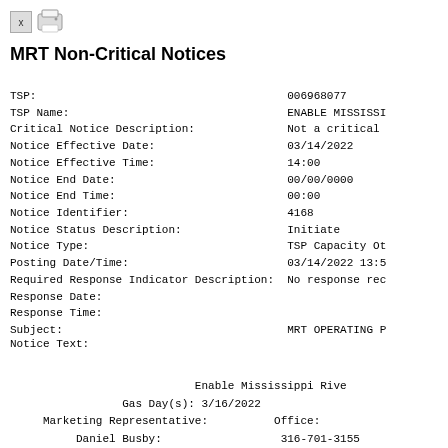MRT Non-Critical Notices
TSP:                                       006968077
TSP Name:                                  ENABLE MISSISSI
Critical Notice Description:               Not a critical
Notice Effective Date:                     03/14/2022
Notice Effective Time:                     14:00
Notice End Date:                           00/00/0000
Notice End Time:                           00:00
Notice Identifier:                         4168
Notice Status Description:                 Initiate
Notice Type:                               TSP Capacity Ot
Posting Date/Time:                         03/14/2022 13:5
Required Response Indicator Description:   No response rec
Response Date:
Response Time:
Subject:                                   MRT OPERATING P
Notice Text:
Enable Mississippi Rive
Gas Day(s): 3/16/2022
Marketing Representative:       Office:
Daniel Busby:                   316-701-3155